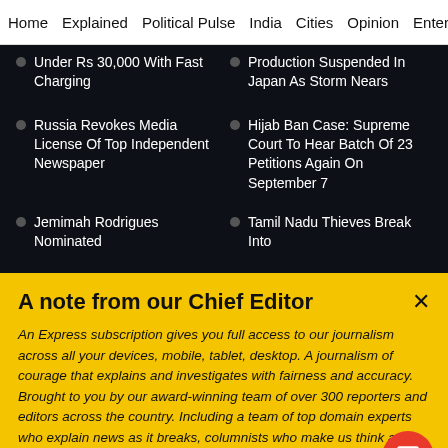Home  Explained  Political Pulse  India  Cities  Opinion  Entertainment
Under Rs 30,000 With Fast Charging
Production Suspended In Japan As Storm Nears
Russia Revokes Media License Of Top Independent Newspaper
Hijab Ban Case: Supreme Court To Hear Batch Of 23 Petitions Again On September 7
Jemimah Rodrigues Nominated
Tamil Nadu Thieves Break Into
A note from our Chief Editor
An Express subscription gives you full access to our journalism across all your devices, mobile, tablet, desktop. A journalism of courage that explains and investigates with fairness and accuracy. Brought to you by our award-winning team of over 300 reporters and editors across the country. Including a team of top domain experts who explain news as it breaks, columnists who make us think and rethink, and a crack investigative team, the only partner in India of the International Consortium of Investigative Journalists. Jo
Buy Now →